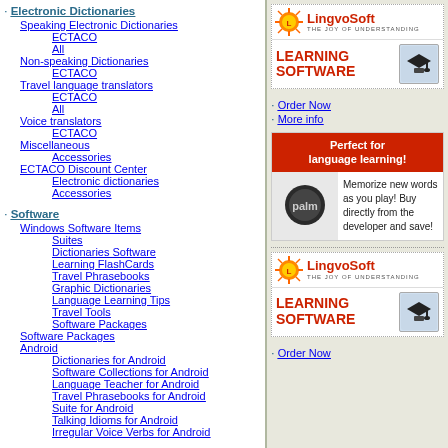Electronic Dictionaries
Speaking Electronic Dictionaries
ECTACO
All
Non-speaking Dictionaries
ECTACO
Travel language translators
ECTACO
All
Voice translators
ECTACO
Miscellaneous
Accessories
ECTACO Discount Center
Electronic dictionaries
Accessories
Software
Windows Software Items
Suites
Dictionaries Software
Learning FlashCards
Travel Phrasebooks
Graphic Dictionaries
Language Learning Tips
Travel Tools
Software Packages
Software Packages
Android
Dictionaries for Android
Software Collections for Android
Language Teacher for Android
Travel Phrasebooks for Android
Suite for Android
Talking Idioms for Android
Irregular Voice Verbs for Android
[Figure (logo): LingvoSoft - THE JOY OF UNDERSTANDING logo with sun icon]
[Figure (illustration): LEARNING SOFTWARE banner with graduation cap icon]
Order Now
More info
[Figure (illustration): Palm advertisement: Perfect for language learning! Memorize new words as you play! Buy directly from the developer and save! with Palm logo]
[Figure (logo): LingvoSoft - THE JOY OF UNDERSTANDING logo with sun icon (second)]
[Figure (illustration): LEARNING SOFTWARE banner with graduation cap icon (second)]
Order Now